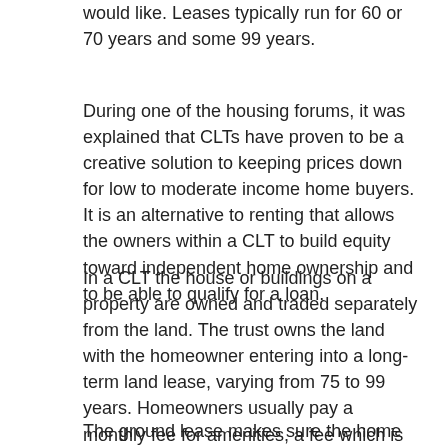would like. Leases typically run for 60 or 70 years and some 99 years.
During one of the housing forums, it was explained that CLTs have proven to be a creative solution to keeping prices down for low to moderate income home buyers. It is an alternative to renting that allows the owners within a CLT to build equity toward independent home ownership and to be able to qualify for a loan.
In a CLT the house or buildings on a property are owned and traded separately from the land. The trust owns the land with the homeowner entering into a long-term land lease, varying from 75 to 99 years. Homeowners usually pay a monthly fee for amenities, a fee which is normally around $40 a month.
The ground lease makes sure the home is well